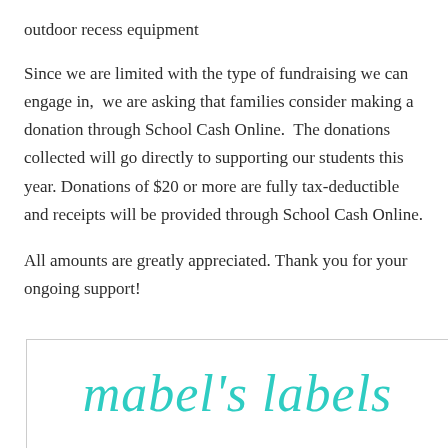outdoor recess equipment
Since we are limited with the type of fundraising we can engage in,  we are asking that families consider making a donation through School Cash Online.  The donations collected will go directly to supporting our students this year. Donations of $20 or more are fully tax-deductible and receipts will be provided through School Cash Online.
All amounts are greatly appreciated. Thank you for your ongoing support!
[Figure (logo): Mabel's Labels logo in teal/turquoise cursive script on white background with border]